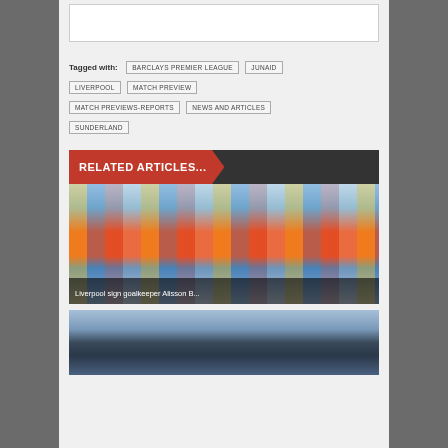Tagged with: BARCLAYS PREMIER LEAGUE  JUNAID  LIVERPOOL  MATCH PREVIEW  MATCH PREVIEWS-REPORTS  NEWS AND ARTICLES  SUNDERLAND
RELATED ARTICLES...
[Figure (photo): Liverpool goalkeeper Alisson Becker at a press conference with sponsor banners in background]
Liverpool sign goalkeeper Alisson B...
[Figure (photo): Partial view of a person at the bottom of the page]